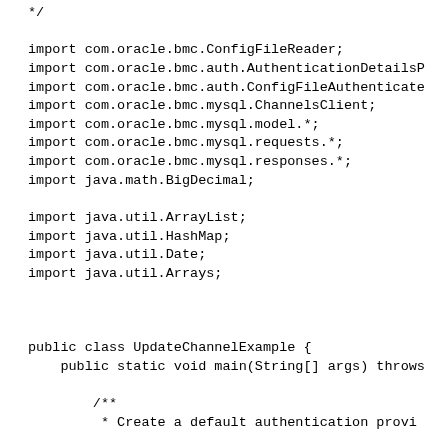*/

import com.oracle.bmc.ConfigFileReader;
import com.oracle.bmc.auth.AuthenticationDetailsP
import com.oracle.bmc.auth.ConfigFileAuthenticate
import com.oracle.bmc.mysql.ChannelsClient;
import com.oracle.bmc.mysql.model.*;
import com.oracle.bmc.mysql.requests.*;
import com.oracle.bmc.mysql.responses.*;
import java.math.BigDecimal;

import java.util.ArrayList;
import java.util.HashMap;
import java.util.Date;
import java.util.Arrays;



public class UpdateChannelExample {
    public static void main(String[] args) throws

        /**
         * Create a default authentication provi